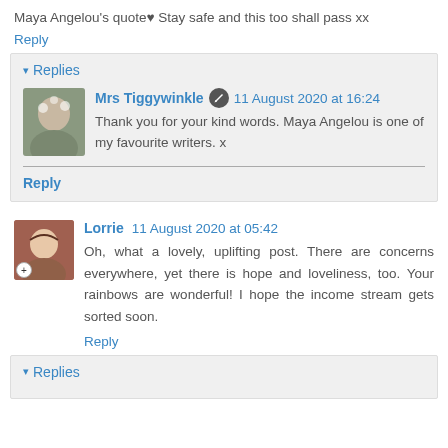Maya Angelou's quote♥ Stay safe and this too shall pass xx
Reply
▾ Replies
Mrs Tiggywinkle ✎ 11 August 2020 at 16:24
Thank you for your kind words. Maya Angelou is one of my favourite writers. x
Reply
Lorrie 11 August 2020 at 05:42
Oh, what a lovely, uplifting post. There are concerns everywhere, yet there is hope and loveliness, too. Your rainbows are wonderful! I hope the income stream gets sorted soon.
Reply
▾ Replies